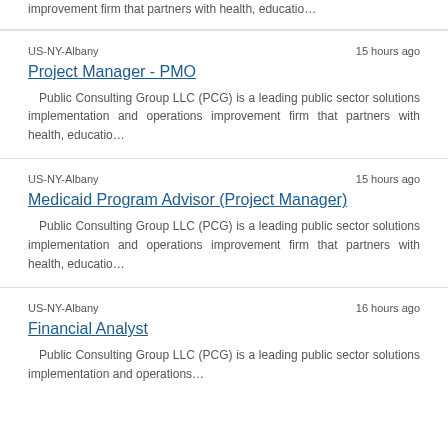improvement firm that partners with health, educatio…
US-NY-Albany    15 hours ago
Project Manager - PMO
Public Consulting Group LLC (PCG) is a leading public sector solutions implementation and operations improvement firm that partners with health, educatio…
US-NY-Albany    15 hours ago
Medicaid Program Advisor (Project Manager)
Public Consulting Group LLC (PCG) is a leading public sector solutions implementation and operations improvement firm that partners with health, educatio…
US-NY-Albany    16 hours ago
Financial Analyst
Public Consulting Group LLC (PCG) is a leading public sector solutions implementation and operations…